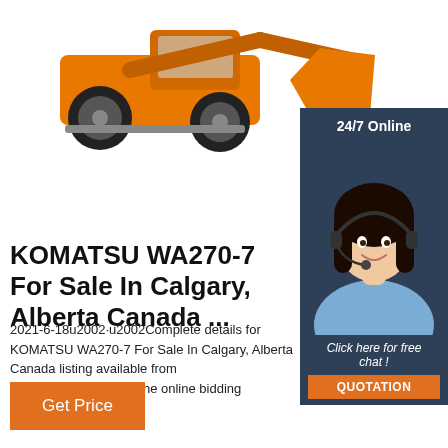[Figure (photo): Orange Komatsu wheel loader with large bucket, photographed from the side against a white background]
24/7 Online
[Figure (photo): Woman with dark hair wearing a headset microphone, smiling, wearing a light blue shirt, customer support representative]
Click here for free chat !
QUOTATION
KOMATSU WA270-7 For Sale In Calgary, Alberta Canada ...
2021-6-18u2002·u2002Complete details for KOMATSU WA270-7 For Sale In Calgary, Alberta Canada listing available from EquipmentFacts.com, the online bidding platform.
Get Price